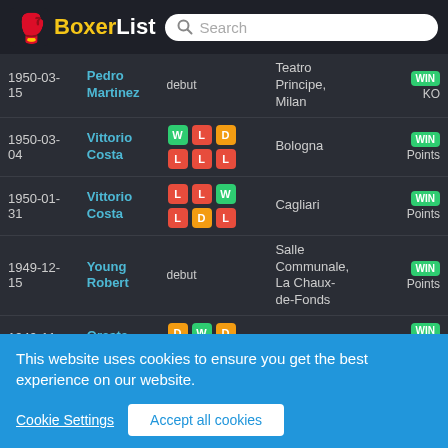BoxerList — Search header
| Date | Opponent | Previous | Venue | Result |
| --- | --- | --- | --- | --- |
| 1950-03-15 | Pedro Martinez | debut | Teatro Principe, Milan | WIN KO |
| 1950-03-04 | Vittorio Costa | W L D L L L | Bologna | WIN Points |
| 1950-01-31 | Vittorio Costa | L L W L D L | Cagliari | WIN Points |
| 1949-12-15 | Young Robert | debut | Salle Communale, La Chaux-de-Fonds | WIN Points |
| 1949-11-30 | Oreste Baiocco | D W D L D W | Cagliari | WIN Technical knockout |
| 1949-11 | Lusion |  |  | WIN |
This website uses cookies to ensure you get the best experience on our website.
Cookie Settings | Accept all cookies